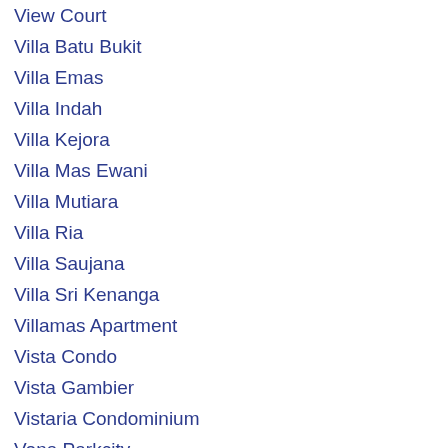View Court
Villa Batu Bukit
Villa Emas
Villa Indah
Villa Kejora
Villa Mas Ewani
Villa Mutiara
Villa Ria
Villa Saujana
Villa Sri Kenanga
Villamas Apartment
Vista Condo
Vista Gambier
Vistaria Condominium
Vona Parkcity
Vona Sky
Waterside Residence
Wayton Court
Westlands Court